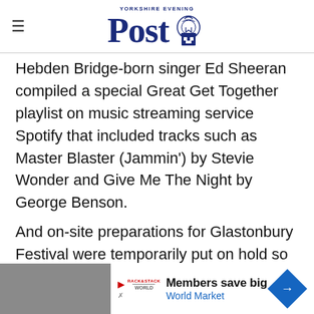Yorkshire Evening Post
Hebden Bridge-born singer Ed Sheeran compiled a special Great Get Together playlist on music streaming service Spotify that included tracks such as Master Blaster (Jammin') by Stevie Wonder and Give Me The Night by George Benson.
And on-site preparations for Glastonbury Festival were temporarily put on hold so workers could stage a Great Get Together celebration of their own.
So the...
[Figure (other): Advertisement banner: Members save big - World Market, with play button, logo, and blue diamond arrow icon]